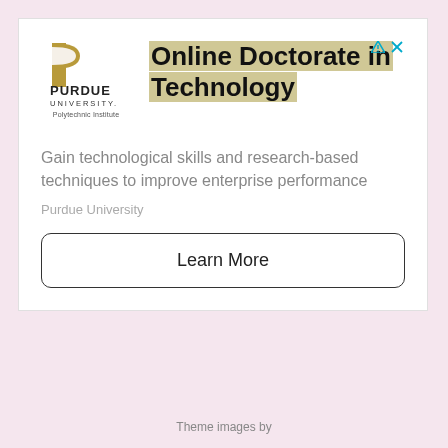[Figure (logo): Purdue University Polytechnic Institute logo with stylized P and text PURDUE UNIVERSITY Polytechnic Institute]
Online Doctorate in Technology
Gain technological skills and research-based techniques to improve enterprise performance
Purdue University
Learn More
Theme images by